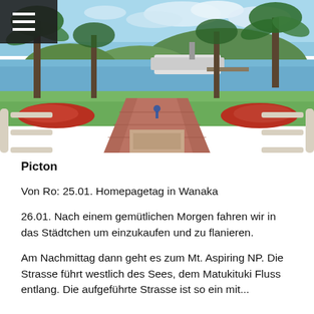[Figure (photo): Scenic view of Picton harbour/waterfront from above, showing palm trees, green lawn, red flower beds, a brick pathway leading to the water, green hills and a ship dock in the background under a partly cloudy sky. A small navigation menu hamburger icon is overlaid in the top-left corner.]
Picton
Von Ro: 25.01. Homepagetag in Wanaka
26.01. Nach einem gemütlichen Morgen fahren wir in das Städtchen um einzukaufen und zu flanieren.
Am Nachmittag dann geht es zum Mt. Aspiring NP. Die Strasse führt westlich des Sees, dem Matukituki Fluss entlang. Die aufgeführte Strasse ist so ein mit...